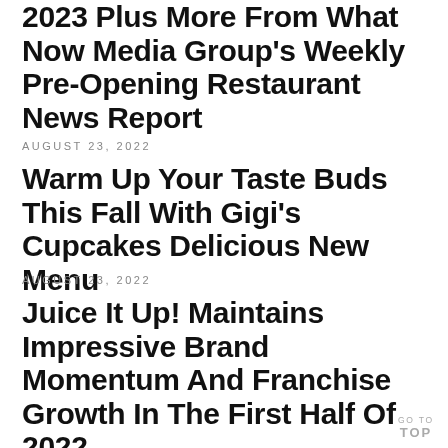2023 Plus More From What Now Media Group's Weekly Pre-Opening Restaurant News Report
AUGUST 23, 2022
Warm Up Your Taste Buds This Fall With Gigi's Cupcakes Delicious New Menu
AUGUST 23, 2022
Juice It Up! Maintains Impressive Brand Momentum And Franchise Growth In The First Half Of 2022
GO TO TOP